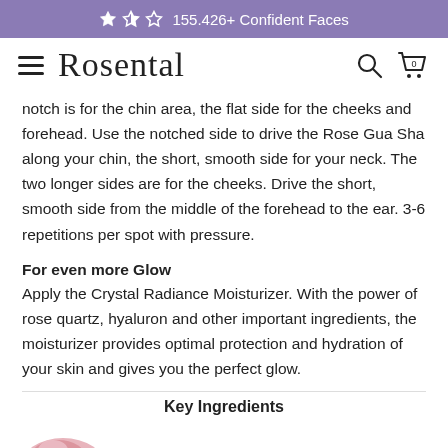★★☆ 155.426+ Confident Faces
[Figure (logo): Rosental brand logo with hamburger menu, search icon, and cart icon showing 0 items]
notch is for the chin area, the flat side for the cheeks and forehead. Use the notched side to drive the Rose Gua Sha along your chin, the short, smooth side for your neck. The two longer sides are for the cheeks. Drive the short, smooth side from the middle of the forehead to the ear. 3-6 repetitions per spot with pressure.
For even more Glow
Apply the Crystal Radiance Moisturizer. With the power of rose quartz, hyaluron and other important ingredients, the moisturizer provides optimal protection and hydration of your skin and gives you the perfect glow.
Key Ingredients
[Figure (photo): Partial view of a rose quartz crystal stone, pink colored]
English